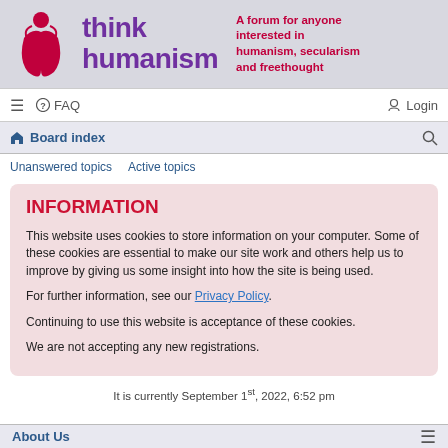[Figure (logo): Think Humanism logo with stylized figure icon in red and purple, text 'think humanism' in purple, tagline 'A forum for anyone interested in humanism, secularism and freethought' in red]
≡  FAQ    Login
Board index  (search icon)
Unanswered topics   Active topics
INFORMATION
This website uses cookies to store information on your computer. Some of these cookies are essential to make our site work and others help us to improve by giving us some insight into how the site is being used.

For further information, see our Privacy Policy.

Continuing to use this website is acceptance of these cookies.

We are not accepting any new registrations.
It is currently September 1st, 2022, 6:52 pm
About Us